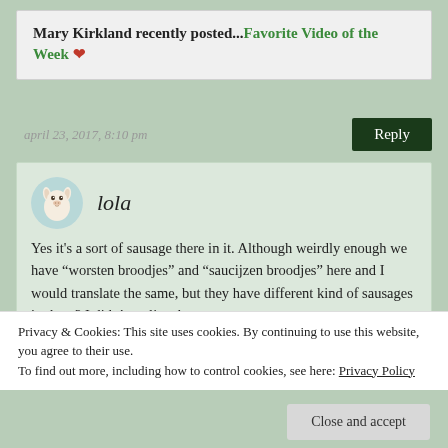Mary Kirkland recently posted...Favorite Video of the Week 🌹
april 23, 2017, 8:10 pm
Reply
lola
[Figure (illustration): Round avatar image of a llama/alpaca cartoon character with light blue circular background]
Yes it's a sort of sausage there in it. Although weirdly enough we have “worsten broodjes” and “saucijzen broodjes” here and I would translate the same, but they have different kind of sausages in them? I didn’t realize they
Privacy & Cookies: This site uses cookies. By continuing to use this website, you agree to their use.
To find out more, including how to control cookies, see here: Privacy Policy
Close and accept